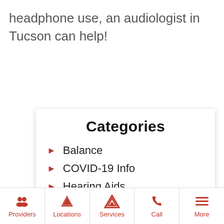headphone use, an audiologist in Tucson can help!
Categories
Balance
COVID-19 Info
Hearing Aids
Hearing Loss
Hearing Protection
Providers | Locations | Services | Call | More